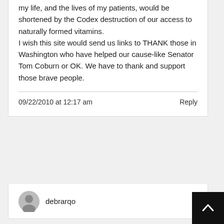my life, and the lives of my patients, would be shortened by the Codex destruction of our access to naturally formed vitamins.
I wish this site would send us links to THANK those in Washington who have helped our cause-like Senator Tom Coburn or OK. We have to thank and support those brave people.
09/22/2010 at 12:17 am
Reply
debrarqo